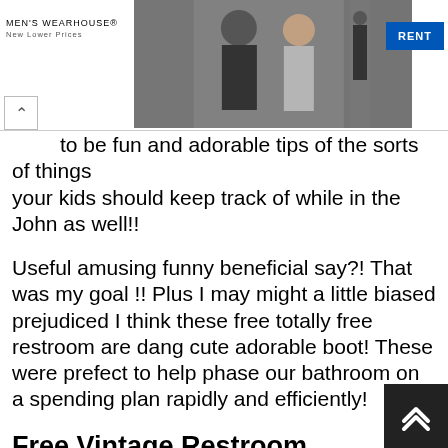[Figure (photo): Men's Wearhouse advertisement banner with couple in formal wear and a solo figure in a suit, with a blue RENT button]
to be fun and adorable tips of the sorts of things your kids should keep track of while in the John as well!!
Useful amusing funny beneficial say?! That was my goal !! Plus I may might a little biased prejudiced I think these free totally free restroom are dang cute adorable boot! These were prefect to help phase our bathroom on a spending plan rapidly and efficiently!
Free Vintage Restroom Printables.